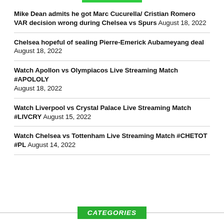Mike Dean admits he got Marc Cucurella/ Cristian Romero VAR decision wrong during Chelsea vs Spurs August 18, 2022
Chelsea hopeful of sealing Pierre-Emerick Aubameyang deal August 18, 2022
Watch Apollon vs Olympiacos Live Streaming Match #APOLOLY August 18, 2022
Watch Liverpool vs Crystal Palace Live Streaming Match #LIVCRY August 15, 2022
Watch Chelsea vs Tottenham Live Streaming Match #CHETOT #PL August 14, 2022
CATEGORIES